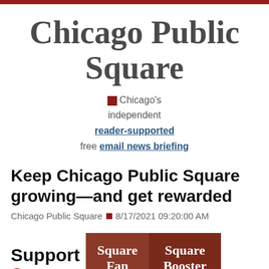Chicago Public Square
Chicago's independent reader-supported free email news briefing
Keep Chicago Public Square growing—and get rewarded
Chicago Public Square ■ 8/17/2021 09:20:00 AM
[Figure (infographic): Support Square banner with two buttons: Square Fan and Square Booster]